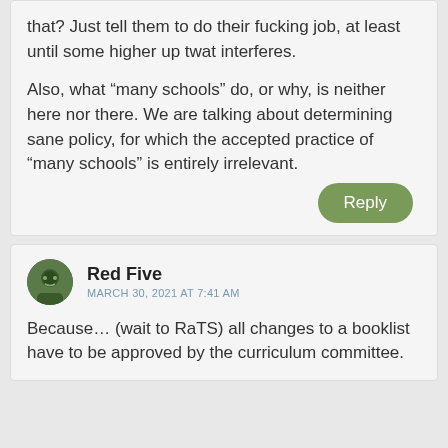that? Just tell them to do their fucking job, at least until some higher up twat interferes.

Also, what “many schools” do, or why, is neither here nor there. We are talking about determining sane policy, for which the accepted practice of “many schools” is entirely irrelevant.
Reply
Red Five
MARCH 30, 2021 AT 7:41 AM
Because… (wait to RaTS) all changes to a booklist have to be approved by the curriculum committee.